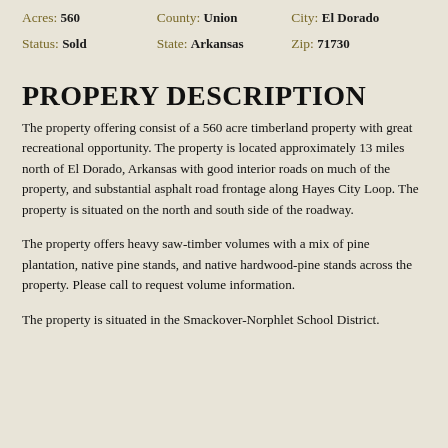Acres: 560    County: Union    City: El Dorado
Status: Sold    State: Arkansas    Zip: 71730
PROPERY DESCRIPTION
The property offering consist of a 560 acre timberland property with great recreational opportunity. The property is located approximately 13 miles north of El Dorado, Arkansas with good interior roads on much of the property, and substantial asphalt road frontage along Hayes City Loop. The property is situated on the north and south side of the roadway.
The property offers heavy saw-timber volumes with a mix of pine plantation, native pine stands, and native hardwood-pine stands across the property. Please call to request volume information.
The property is situated in the Smackover-Norphlet School District.